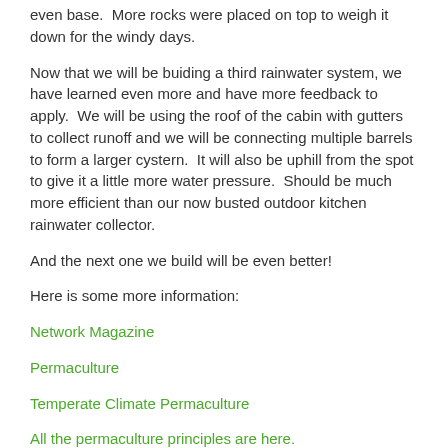even base.  More rocks were placed on top to weigh it down for the windy days.
Now that we will be buiding a third rainwater system, we have learned even more and have more feedback to apply.  We will be using the roof of the cabin with gutters to collect runoff and we will be connecting multiple barrels to form a larger cystern.  It will also be uphill from the spot to give it a little more water pressure.  Should be much more efficient than our now busted outdoor kitchen rainwater collector.
And the next one we build will be even better!
Here is some more information:
Network Magazine
Permaculture
Temperate Climate Permaculture
All the permaculture principles are here.